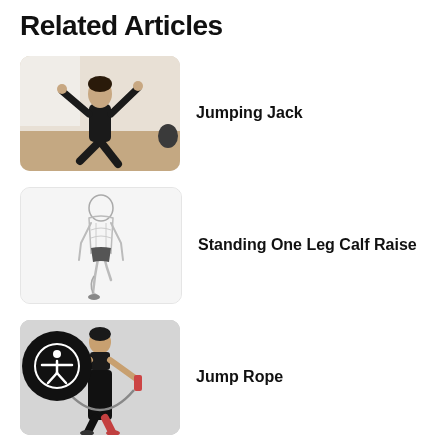Related Articles
[Figure (photo): Woman in black sportswear doing a jumping jack exercise in a gym room]
Jumping Jack
[Figure (illustration): Anatomical illustration of a man doing a standing one leg calf raise]
Standing One Leg Calf Raise
[Figure (photo): Woman in black sportswear jumping rope against a grey background]
Jump Rope
[Figure (photo): Partial image of a 45 Degree Leg Press Calf exercise]
45 Degree Leg Press Calf